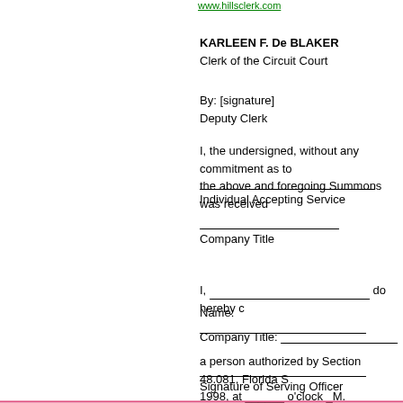KARLEEN F. De BLAKER
Clerk of the Circuit Court
By: [signature]
Deputy Clerk
I, the undersigned, without any commitment as to the above and foregoing Summons was received
Individual Accepting Service
Company Title
I, ______________________________ do hereby c
Name: ______________________________
Company Title: ______________________
a person authorized by Section 48.081, Florida S 1998, at ______ o'clock _M.
Signature of Serving Officer